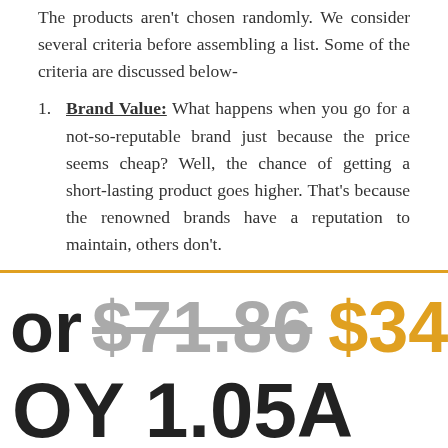The products aren't chosen randomly. We consider several criteria before assembling a list. Some of the criteria are discussed below-
Brand Value: What happens when you go for a not-so-reputable brand just because the price seems cheap? Well, the chance of getting a short-lasting product goes higher. That's because the renowned brands have a reputation to maintain, others don't.
or $71.86 $34.97
OY 1.05A Dai